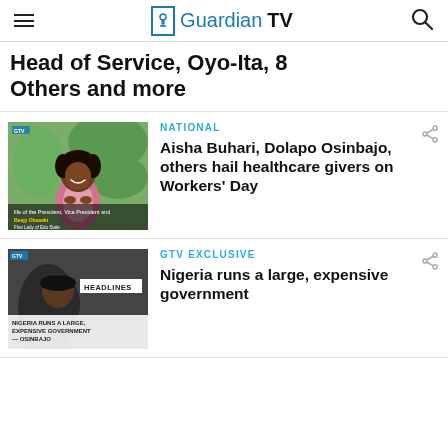GuardianTV
Head of Service, Oyo-Ita, 8 Others and more
[Figure (photo): Photo of a woman smiling with hands pressed together, in a garden, with text overlay 'life of the President, Vice President and First Lady' and 'Beejy Obaseki – First Lady of Edo State']
NATIONAL
Aisha Buhari, Dolapo Osinbajo, others hail healthcare givers on Workers' Day
[Figure (screenshot): Screenshot of a news video thumbnail showing a man in a cap, with HEADLINES banner and text 'NIGERIA RUNS A LARGE, EXPENSIVE GOVERNMENT — OSINBAJO']
GTV EXCLUSIVE
Nigeria runs a large, expensive government